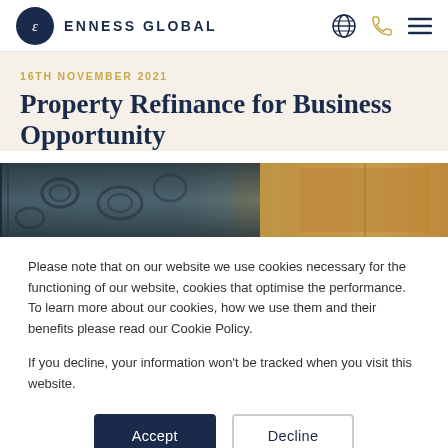ENNESS GLOBAL
16TH NOVEMBER 2021
Property Refinance for Business Opportunity
[Figure (photo): Close-up photograph of ornate wrought iron gate with wooden door in background]
Please note that on our website we use cookies necessary for the functioning of our website, cookies that optimise the performance. To learn more about our cookies, how we use them and their benefits please read our Cookie Policy.

If you decline, your information won't be tracked when you visit this website.